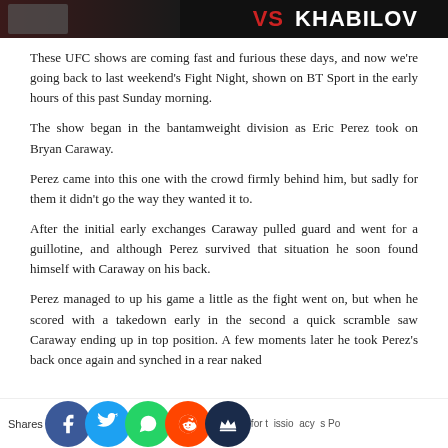[Figure (photo): Dark header image with 'VS KHABILOV' text in white and red on black background]
These UFC shows are coming fast and furious these days, and now we're going back to last weekend's Fight Night, shown on BT Sport in the early hours of this past Sunday morning.
The show began in the bantamweight division as Eric Perez took on Bryan Caraway.
Perez came into this one with the crowd firmly behind him, but sadly for them it didn't go the way they wanted it to.
After the initial early exchanges Caraway pulled guard and went for a guillotine, and although Perez survived that situation he soon found himself with Caraway on his back.
Perez managed to up his game a little as the fight went on, but when he scored with a takedown early in the second a quick scramble saw Caraway ending up in top position. A few moments later he took Perez's back once again and synched in a rear naked
Shares  for t  issio  acy  s Po